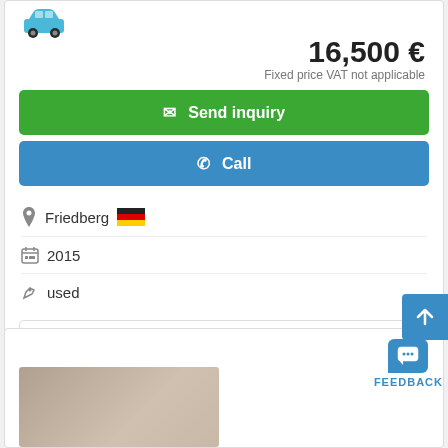[Figure (illustration): Blue car icon]
16,500 €
Fixed price VAT not applicable
Send inquiry
Call
Friedberg
2015
used
0blpo
[Figure (photo): Car photo thumbnail at bottom of page]
FEEDBACK